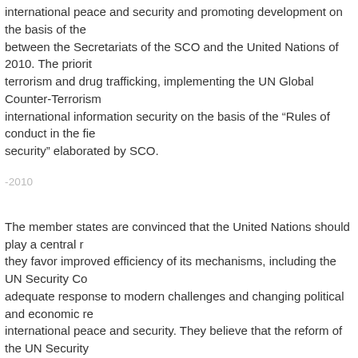international peace and security and promoting development on the basis of the between the Secretariats of the SCO and the United Nations of 2010. The priori terrorism and drug trafficking, implementing the UN Global Counter-Terrorism international information security on the basis of the “Rules of conduct in the fie security” elaborated by SCO.
‐2010
The member states are convinced that the United Nations should play a central r they favor improved efficiency of its mechanisms, including the UN Security Co adequate response to modern challenges and changing political and economic re international peace and security. They believe that the reform of the UN Security representative and effective through having the widest possible consultations air ensures the UN member states cohesion, without setting artificial deadlines and the wide support of the UN member states.